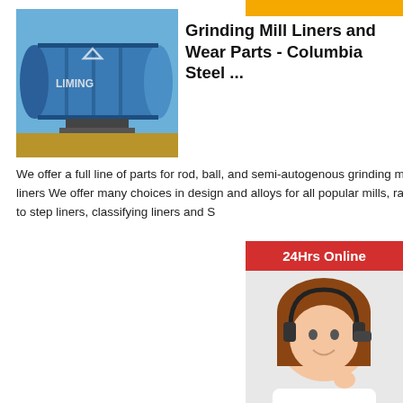[Figure (photo): Blue industrial grinding mill with LIMING brand logo, heavy cylindrical machine on a base]
Grinding Mill Liners and Wear Parts - Columbia Steel ...
We offer a full line of parts for rod, ball, and semi-autogenous grinding mills for cement plants. Shell liners We offer many choices in design and alloys for all popular mills, ranging f... wave styles to step liners, classifying liners and S...
[Figure (photo): 24Hrs Online customer service representative with headset, smiling woman]
<< Previous:Olde Thyme Butter Nut Butter Grinder Mill Pn2
>> Next:Compact Portable Crusher
jaw crushers primary and secondary Sea...
used ball mill series suppliers china
modern stone crushing plant